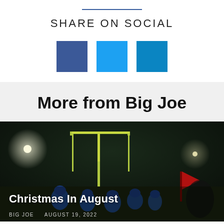SHARE ON SOCIAL
[Figure (illustration): Three social media share buttons: dark blue (Facebook), bright blue (Twitter), medium blue (LinkedIn)]
More from Big Joe
[Figure (photo): Night football game photo showing players on field with goal posts lit up and a red flag. Overlay text: Christmas In August. Meta: BIG JOE · AUGUST 19, 2022]
Christmas In August
BIG JOE   AUGUST 19, 2022